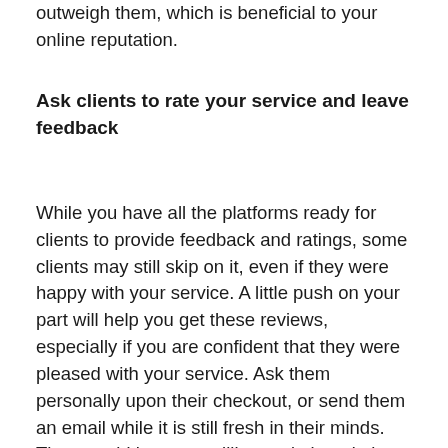outweigh them, which is beneficial to your online reputation.
Ask clients to rate your service and leave feedback
While you have all the platforms ready for clients to provide feedback and ratings, some clients may still skip on it, even if they were happy with your service. A little push on your part will help you get these reviews, especially if you are confident that they were pleased with your service. Ask them personally upon their checkout, or send them an email while it is still fresh in their minds. They would be more willing to do it and give you a higher rating and recommendation if they are satisfied with